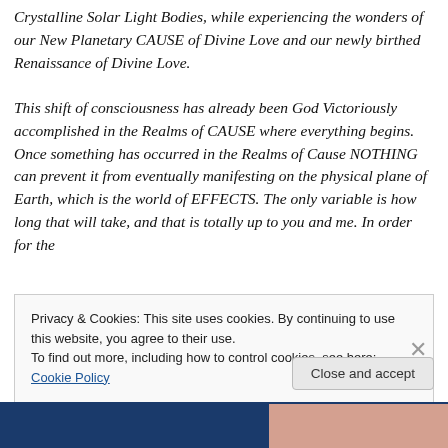Crystalline Solar Light Bodies, while experiencing the wonders of our New Planetary CAUSE of Divine Love and our newly birthed Renaissance of Divine Love.

This shift of consciousness has already been God Victoriously accomplished in the Realms of CAUSE where everything begins. Once something has occurred in the Realms of Cause NOTHING can prevent it from eventually manifesting on the physical plane of Earth, which is the world of EFFECTS. The only variable is how long that will take, and that is totally up to you and me. In order for the
Privacy & Cookies: This site uses cookies. By continuing to use this website, you agree to their use.
To find out more, including how to control cookies, see here: Cookie Policy